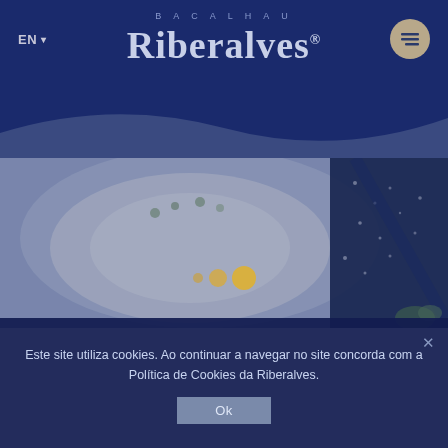BACALHAU Riberalves
EN
[Figure (screenshot): Riberalves bacalhau website screenshot showing food photo with a white bowl containing flaked cod fish, with a dark navy cookbook or box on the right side, slideshow navigation dots in gold/yellow]
Este site utiliza cookies. Ao continuar a navegar no site concorda com a Política de Cookies da Riberalves.
Ok